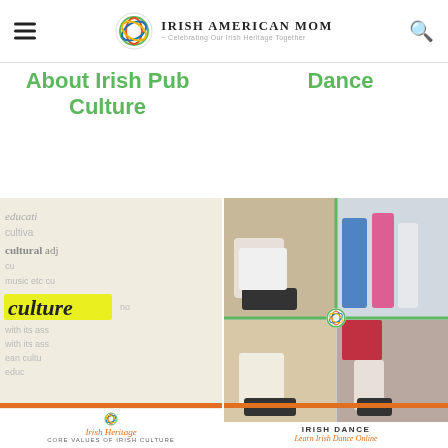Irish American Mom - Celebrating Our Irish Heritage Together
About Irish Pub Culture
Dance
[Figure (photo): Dictionary page with the word 'culture' highlighted in yellow. Card shows Irish Heritage branding with subtitle 'Core Values of Irish Culture']
[Figure (photo): Collage of four images of Irish dancers' feet and legs in dance shoes. Card shows Irish Dance branding with subtitle 'Learn Irish Dance Online']